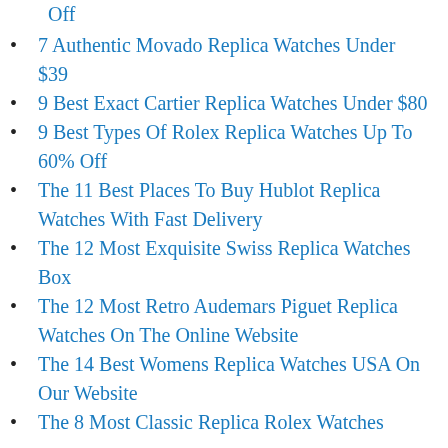Off
7 Authentic Movado Replica Watches Under $39
9 Best Exact Cartier Replica Watches Under $80
9 Best Types Of Rolex Replica Watches Up To 60% Off
The 11 Best Places To Buy Hublot Replica Watches With Fast Delivery
The 12 Most Exquisite Swiss Replica Watches Box
The 12 Most Retro Audemars Piguet Replica Watches On The Online Website
The 14 Best Womens Replica Watches USA On Our Website
The 8 Most Classic Replica Rolex Watches